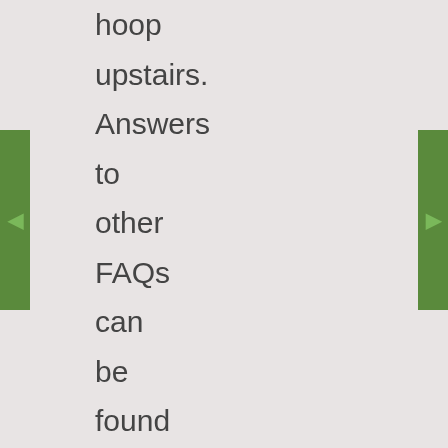hoop upstairs. Answers to other FAQs can be found in the FAQ discussion thread over in the FITF flickr group. (Did